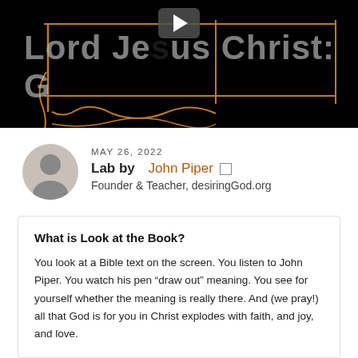[Figure (screenshot): Video thumbnail showing 'Lord Jesus Christ: G' text on black background with orange/brown sketch lines and a play button overlay]
MAY 26, 2022
Lab by John Piper  Founder & Teacher, desiringGod.org
What is Look at the Book?
You look at a Bible text on the screen. You listen to John Piper. You watch his pen “draw out” meaning. You see for yourself whether the meaning is really there. And (we pray!) all that God is for you in Christ explodes with faith, and joy, and love.